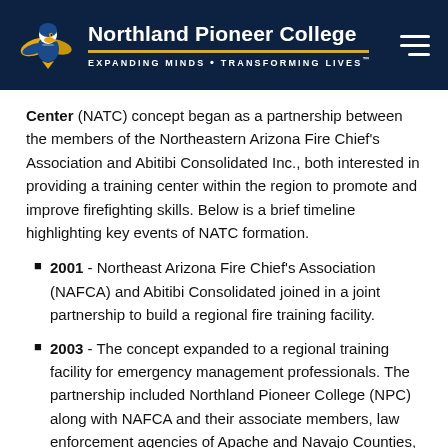Northland Pioneer College — Expanding Minds • Transforming Lives
Center (NATC) concept began as a partnership between the members of the Northeastern Arizona Fire Chief's Association and Abitibi Consolidated Inc., both interested in providing a training center within the region to promote and improve firefighting skills. Below is a brief timeline highlighting key events of NATC formation.
2001 - Northeast Arizona Fire Chief's Association (NAFCA) and Abitibi Consolidated joined in a joint partnership to build a regional fire training facility.
2003 - The concept expanded to a regional training facility for emergency management professionals. The partnership included Northland Pioneer College (NPC) along with NAFCA and their associate members, law enforcement agencies of Apache and Navajo Counties, Arizona Department of Public